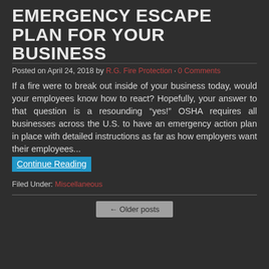EMERGENCY ESCAPE PLAN FOR YOUR BUSINESS
Posted on April 24, 2018 by R.G. Fire Protection · 0 Comments
If a fire were to break out inside of your business today, would your employees know how to react? Hopefully, your answer to that question is a resounding “yes!” OSHA requires all businesses across the U.S. to have an emergency action plan in place with detailed instructions as far as how employers want their employees...
Continue Reading
Filed Under: Miscellaneous
← Older posts